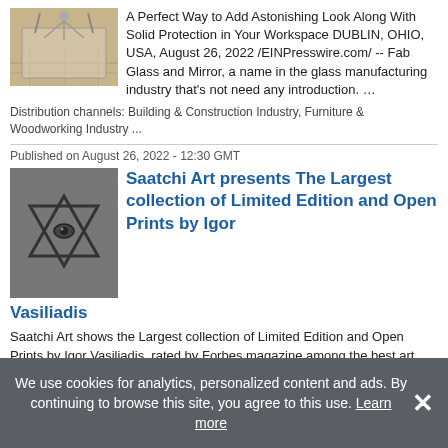[Figure (photo): Photo of a glass chair mat on a floor]
A Perfect Way to Add Astonishing Look Along With Solid Protection in Your Workspace DUBLIN, OHIO, USA, August 26, 2022 /EINPresswire.com/ -- Fab Glass and Mirror, a name in the glass manufacturing industry that's not need any introduction. …
Distribution channels: Building & Construction Industry, Furniture & Woodworking Industry ...
Published on August 26, 2022 - 12:30 GMT
[Figure (photo): Black and white photo of a Star of David sculpture or artwork]
Saatchi Art presents The Largest collection of Limited Edition and Open Prints by Igor Vasiliadis
Saatchi Art shows the Largest collection of Limited Edition and Open Prints by Igor Vasiliadis, rated by Forbes magazine among the best art investments in 2021 NEW YORK, NEW YORK, UNITED STATES, August 26, 2022 / EINPresswire.com/ -- Saatchi Art …
We use cookies for analytics, personalized content and ads. By continuing to browse this site, you agree to this use. Learn more